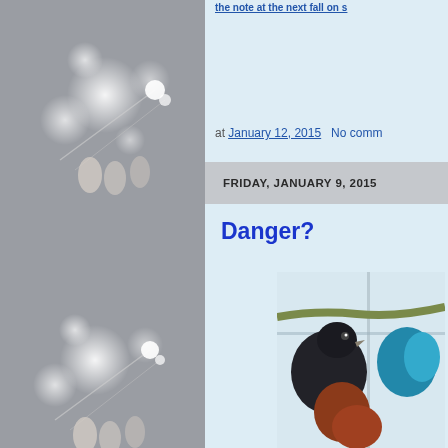[Figure (photo): Left sidebar showing a grey background with bokeh light orbs and thin needle-like objects held by fingers, appearing blurred]
at January 12, 2015   No comm
FRIDAY, JANUARY 9, 2015
Danger?
[Figure (photo): Photo of a bird (appears to be a parrot) on a branch near a window, with dark and teal/blue plumage visible]